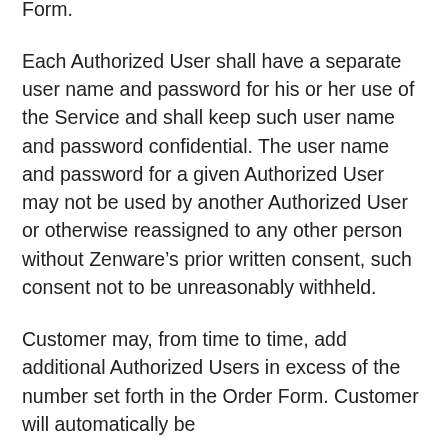Service may only be used and accessed by the Authorized Users set forth in the Order Form.
Each Authorized User shall have a separate user name and password for his or her use of the Service and shall keep such user name and password confidential. The user name and password for a given Authorized User may not be used by another Authorized User or otherwise reassigned to any other person without Zenware’s prior written consent, such consent not to be unreasonably withheld.
Customer may, from time to time, add additional Authorized Users in excess of the number set forth in the Order Form. Customer will automatically be